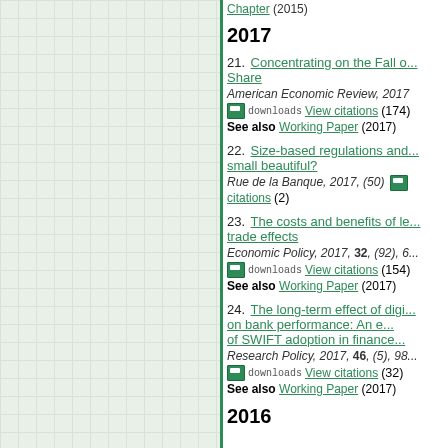Chapter (2015)
2017
21. Concentrating on the Fall of the Labor Share
American Economic Review, 2017
downloads View citations (174)
See also Working Paper (2017)
22. Size-based regulations and is small beautiful?
Rue de la Banque, 2017, (50)
View citations (2)
23. The costs and benefits of le... trade effects
Economic Policy, 2017, 32, (92), 6...
downloads View citations (154)
See also Working Paper (2017)
24. The long-term effect of digi... on bank performance: An e... of SWIFT adoption in finance
Research Policy, 2017, 46, (5), 98...
downloads View citations (32)
See also Working Paper (2017)
2016